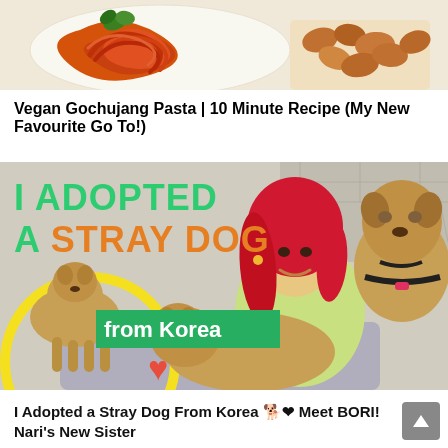[Figure (photo): Food thumbnail showing pasta with orange-red sauce (gochujang pasta) on a white plate, garnished with parsley, with side dishes visible]
Vegan Gochujang Pasta | 10 Minute Recipe (My New Favourite Go To!)
[Figure (photo): YouTube thumbnail: woman with red/pink hair holding two tan/brown stray dogs, third dog on left. Text overlays read 'I ADOPTED A STRAY DOG from Korea' with a red heart. Yellow circle on lower left.]
I Adopted a Stray Dog From Korea 🐕❤ Meet BORI! Nari's New Sister